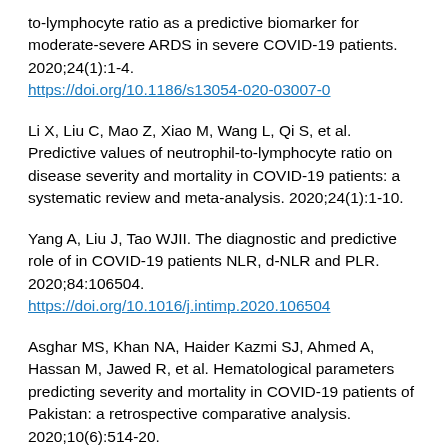to-lymphocyte ratio as a predictive biomarker for moderate-severe ARDS in severe COVID-19 patients. 2020;24(1):1-4. https://doi.org/10.1186/s13054-020-03007-0
Li X, Liu C, Mao Z, Xiao M, Wang L, Qi S, et al. Predictive values of neutrophil-to-lymphocyte ratio on disease severity and mortality in COVID-19 patients: a systematic review and meta-analysis. 2020;24(1):1-10.
Yang A, Liu J, Tao WJII. The diagnostic and predictive role of in COVID-19 patients NLR, d-NLR and PLR. 2020;84:106504. https://doi.org/10.1016/j.intimp.2020.106504
Asghar MS, Khan NA, Haider Kazmi SJ, Ahmed A, Hassan M, Jawed R, et al. Hematological parameters predicting severity and mortality in COVID-19 patients of Pakistan: a retrospective comparative analysis. 2020;10(6):514-20.
Chan AS, Rout A Jlocmr. Use of neutrophil-to-lymphocyte and